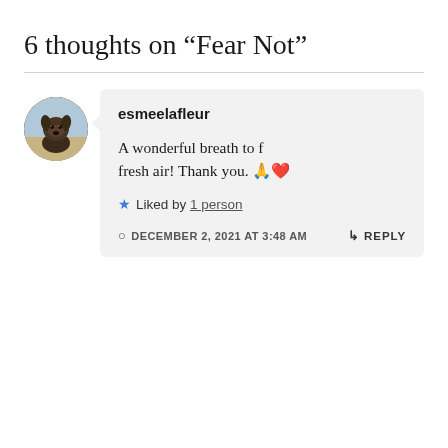6 thoughts on “Fear Not”
esmeelafleur
A wonderful breath to f fresh air! Thank you. 🙏❤️
★ Liked by 1 person
DECEMBER 2, 2021 AT 3:48 AM
↳ REPLY